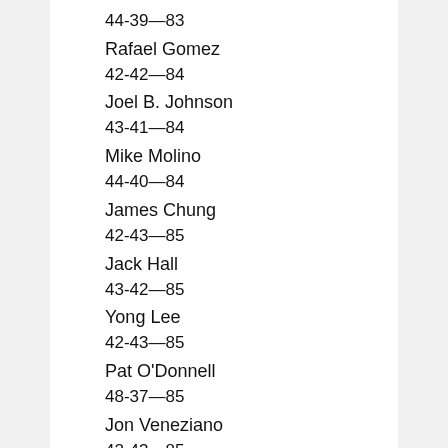44-39—83
Rafael Gomez
42-42—84
Joel B. Johnson
43-41—84
Mike Molino
44-40—84
James Chung
42-43—85
Jack Hall
43-42—85
Yong Lee
42-43—85
Pat O'Donnell
48-37—85
Jon Veneziano
42-43—85
Jim Roy
45-41—86